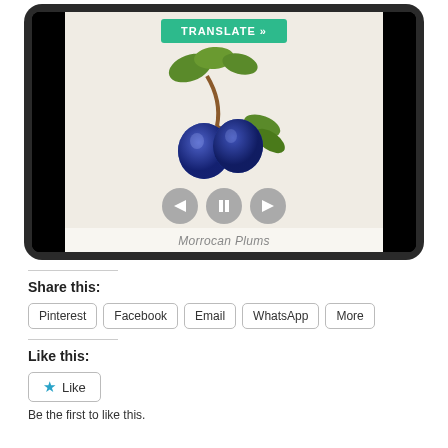[Figure (screenshot): A tablet device showing a botanical illustration of Morrocan Plums with a teal TRANSLATE button at the top and media playback controls (back, pause, forward) at the bottom of the screen. Caption reads 'Morrocan Plums'.]
Share this:
Pinterest
Facebook
Email
WhatsApp
More
Like this:
Like
Be the first to like this.